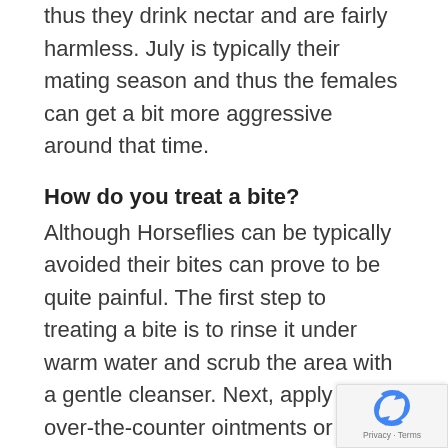thus they drink nectar and are fairly harmless. July is typically their mating season and thus the females can get a bit more aggressive around that time.
How do you treat a bite?
Although Horseflies can be typically avoided their bites can prove to be quite painful. The first step to treating a bite is to rinse it under warm water and scrub the area with a gentle cleanser. Next, apply any over-the-counter ointments or antiseptic sprays as this helps to fight infection and itchiness, as well as irritation. A cold compress can be used treat the pain and swelling, reducing th